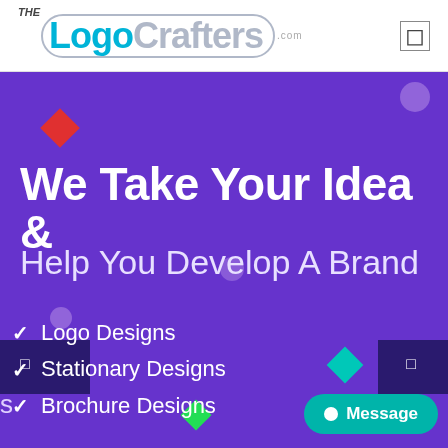[Figure (logo): TheLogoCrafters.com logo — 'THE' small italic, 'Logo' in cyan bold, 'Crafters' in gray bold, all inside a rounded rectangle border, with '.com' below]
We Take Your Idea &
Help You Develop A Brand
Logo Designs
Stationary Designs
Brochure Designs
Message